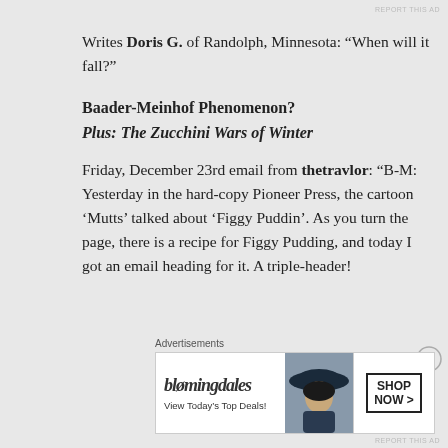REPORT THIS AD
Writes Doris G. of Randolph, Minnesota: “When will it fall?”
Baader-Meinhof Phenomenon?
Plus: The Zucchini Wars of Winter
Friday, December 23rd email from thetravlor: “B-M: Yesterday in the hard-copy Pioneer Press, the cartoon ‘Mutts’ talked about ‘Figgy Puddin’. As you turn the page, there is a recipe for Figgy Pudding, and today I got an email heading for it. A triple-header!
Advertisements
[Figure (other): Bloomingdale's advertisement banner with logo, 'View Today's Top Deals!' text, woman with hat image, and 'SHOP NOW >' button]
REPORT THIS AD